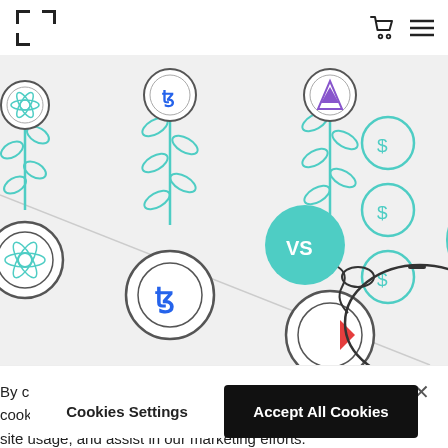[Logo bracket icon] [Cart icon] [Menu icon]
[Figure (illustration): Cryptocurrency vs savings illustration. Left side shows three plant stems growing from circles with crypto logos (generic, Tezos, and another), with a diagonal dividing line and a teal circle with 'VS' text. Right side shows a piggy bank with three dollar coin circles stacked above it.]
By clicking “Accept All Cookies”, you agree to the storing of cookies on your device to enhance site navigation, analyze site usage, and assist in our marketing efforts.
Cookies Settings
Accept All Cookies